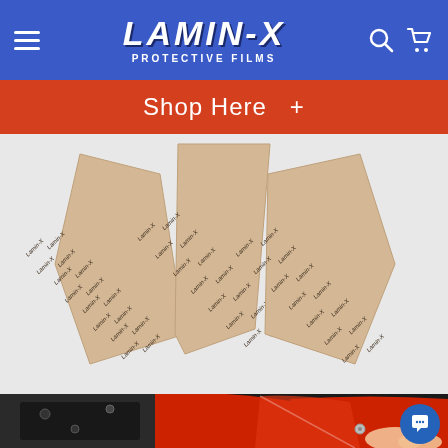LAMIN-X PROTECTIVE FILMS
Shop Here +
[Figure (photo): Three Lamin-X protective film pieces laid out: two shaped wing/shield panels on left and right, one trapezoid/funnel-shaped center piece, all with repeating LAMIN-X text watermark pattern on kraft/tan backing paper]
[Figure (photo): Close-up photo of red motorcycle frame/fairing with a clear protective film being applied, showing black chassis hardware in background]